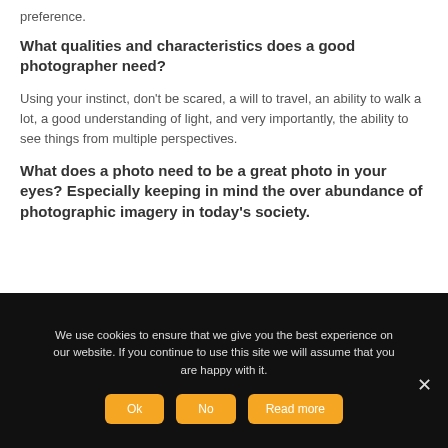preference.
What qualities and characteristics does a good photographer need?
Using your instinct, don't be scared, a will to travel, an ability to walk a lot, a good understanding of light, and very importantly, the ability to see things from multiple perspectives.
What does a photo need to be a great photo in your eyes? Especially keeping in mind the over abundance of photographic imagery in today's society.
We use cookies to ensure that we give you the best experience on our website. If you continue to use this site we will assume that you are happy with it.